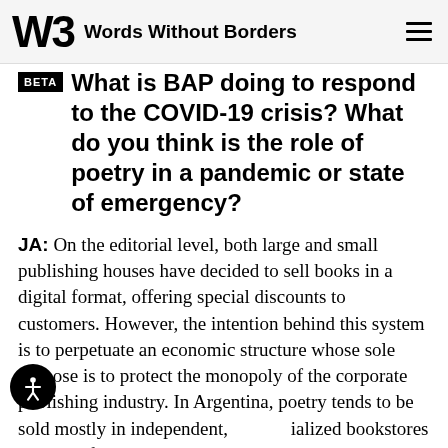Words Without Borders
What is BAP doing to respond to the COVID-19 crisis? What do you think is the role of poetry in a pandemic or state of emergency?
JA: On the editorial level, both large and small publishing houses have decided to sell books in a digital format, offering special discounts to customers. However, the intention behind this system is to perpetuate an economic structure whose sole purpose is to protect the monopoly of the corporate publishing industry. In Argentina, poetry tends to be sold mostly in independent, specialized bookstores with carefully curated catalogs. Big chains here are not very interested